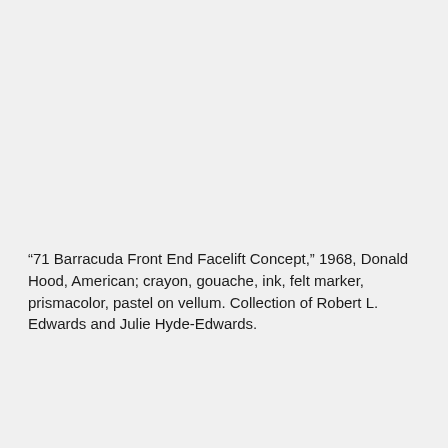“71 Barracuda Front End Facelift Concept,” 1968, Donald Hood, American; crayon, gouache, ink, felt marker, prismacolor, pastel on vellum. Collection of Robert L. Edwards and Julie Hyde-Edwards.